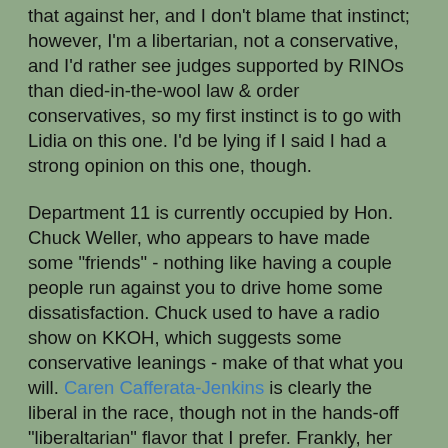that against her, and I don't blame that instinct; however, I'm a libertarian, not a conservative, and I'd rather see judges supported by RINOs than died-in-the-wool law & order conservatives, so my first instinct is to go with Lidia on this one. I'd be lying if I said I had a strong opinion on this one, though.
Department 11 is currently occupied by Hon. Chuck Weller, who appears to have made some "friends" - nothing like having a couple people run against you to drive home some dissatisfaction. Chuck used to have a radio show on KKOH, which suggests some conservative leanings - make of that what you will. Caren Cafferata-Jenkins is clearly the liberal in the race, though not in the hands-off "liberaltarian" flavor that I prefer. Frankly, her bio suggests some old school progressivism in her background, which leaves me shaking my head. John Hope Jr., meanwhile, is a nice middle ground between the two. Former veteran, not completely in the progressive tank, a little more balanced. He also has some wonderful charts illustrating why he's running against Weller.
Department 14 is currently occupied by Hon. Linda Gardner